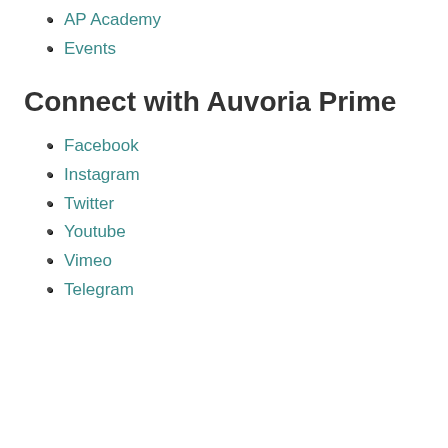AP Academy
Events
Connect with Auvoria Prime
Facebook
Instagram
Twitter
Youtube
Vimeo
Telegram